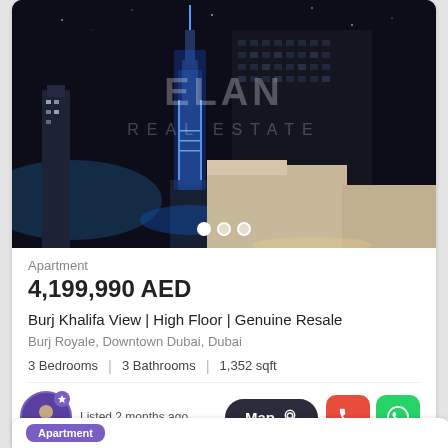[Figure (photo): Night cityscape photo of Dubai skyline with Burj Khalifa illuminated in blue, skyscrapers in background, ELAN REAL ESTATE watermark overlay]
Apartment
4,199,990 AED
Burj Khalifa View | High Floor | Genuine Resale
Burj Royale, Downtown Dubai, Dubai
3 Bedrooms  |  3 Bathrooms  |  1,352 sqft
Listed 2 months ago